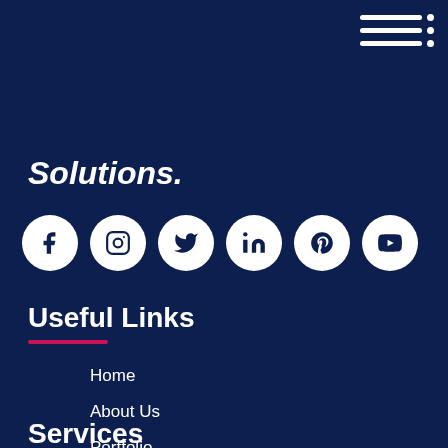[Figure (illustration): Hamburger menu icon in top-right corner with three horizontal lines and dots]
Solutions.
[Figure (illustration): Row of six social media icons (Facebook, Instagram, Twitter, LinkedIn, Pinterest, YouTube) as white circles on dark blue background]
Useful Links
Home
About Us
Portfolio
Training
Career
Contact Us
Services